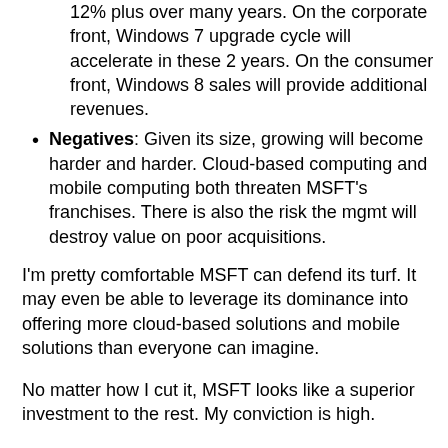12% plus over many years. On the corporate front, Windows 7 upgrade cycle will accelerate in these 2 years. On the consumer front, Windows 8 sales will provide additional revenues.
Negatives: Given its size, growing will become harder and harder. Cloud-based computing and mobile computing both threaten MSFT's franchises. There is also the risk the mgmt will destroy value on poor acquisitions.
I'm pretty comfortable MSFT can defend its turf. It may even be able to leverage its dominance into offering more cloud-based solutions and mobile solutions than everyone can imagine.
No matter how I cut it, MSFT looks like a superior investment to the rest. My conviction is high.
Charlie Munger always says diversification is diworsification. My dilemma here is whether I should diversify in order to reduce my exposure to one single company. No matter how high my conviction is, there are always "unknown unknowns". There is also additional risk that...